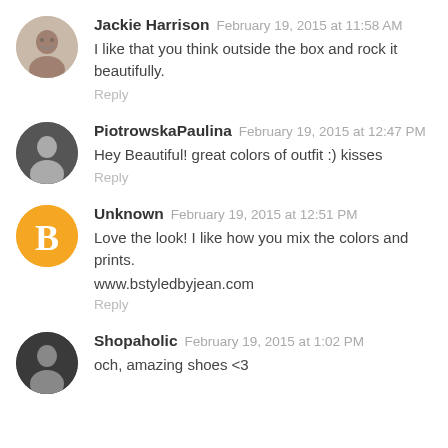Jackie Harrison February 19, 2015 at 11:58 AM
I like that you think outside the box and rock it beautifully.
Reply
PiotrowskaPaulina February 19, 2015 at 12:47 PM
Hey Beautiful! great colors of outfit :) kisses
Reply
Unknown February 19, 2015 at 12:51 PM
Love the look! I like how you mix the colors and prints.
www.bstyledbyjean.com
Reply
Shopaholic February 19, 2015 at 1:02 PM
och, amazing shoes <3